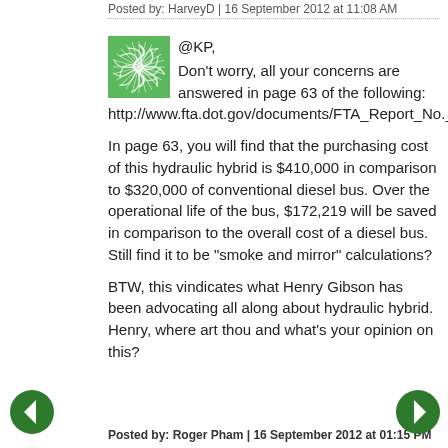Posted by: HarveyD | 16 September 2012 at 11:08 AM
[Figure (illustration): Green swirl avatar icon]
@KP,
Don't worry, all your concerns are answered in page 63 of the following:
http://www.fta.dot.gov/documents/FTA_Report_No._0018.pdf

In page 63, you will find that the purchasing cost of this hydraulic hybrid is $410,000 in comparison to $320,000 of conventional diesel bus. Over the operational life of the bus, $172,219 will be saved in comparison to the overall cost of a diesel bus. Still find it to be "smoke and mirror" calculations?

BTW, this vindicates what Henry Gibson has been advocating all along about hydraulic hybrid. Henry, where art thou and what's your opinion on this?
Posted by: Roger Pham | 16 September 2012 at 01:15 PM